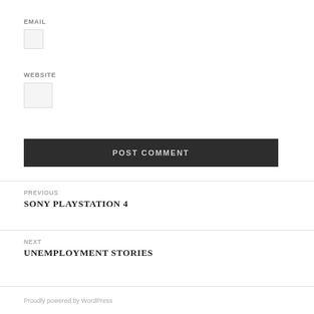EMAIL
WEBSITE
POST COMMENT
Previous
SONY PLAYSTATION 4
Next
UNEMPLOYMENT STORIES
Proudly powered by WordPress